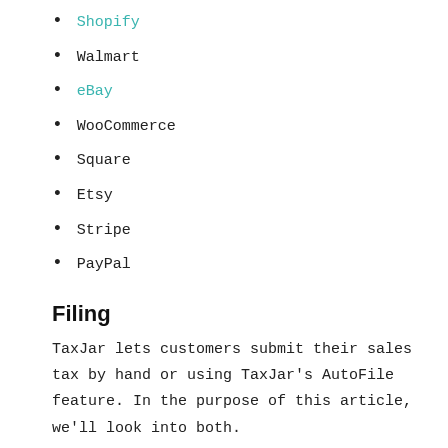Shopify
Walmart
eBay
WooCommerce
Square
Etsy
Stripe
PayPal
Filing
TaxJar lets customers submit their sales tax by hand or using TaxJar's AutoFile feature. In the purpose of this article, we'll look into both.
If you choose to go it alone, TaxJar will allow you to connect those sales tools. When it comes time to filing tax returns for